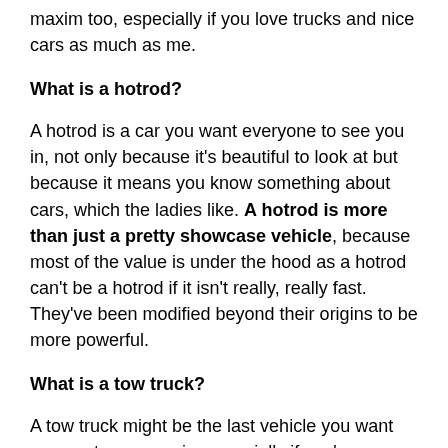maxim too, especially if you love trucks and nice cars as much as me.
What is a hotrod?
A hotrod is a car you want everyone to see you in, not only because it's beautiful to look at but because it means you know something about cars, which the ladies like. A hotrod is more than just a pretty showcase vehicle, because most of the value is under the hood as a hotrod can't be a hotrod if it isn't really, really fast. They've been modified beyond their origins to be more powerful.
What is a tow truck?
A tow truck might be the last vehicle you want anyone to see you in, especially if you're a passenger and your real car is hooked on the back of it. But even professional tow truck drivers would prefer to drive a hotrod, or at least most of them.